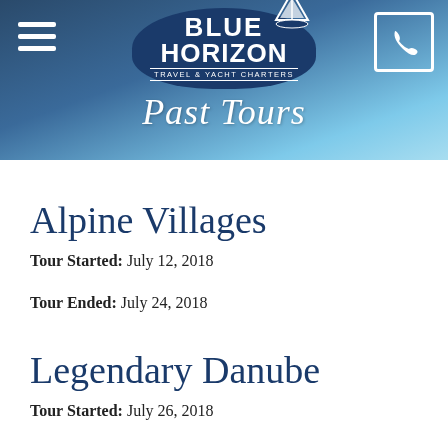[Figure (logo): Blue Horizon Travel & Yacht Charters logo with sailboat graphic on dark blue shield/oval background, with 'Past Tours' in cursive script below]
Alpine Villages
Tour Started: July 12, 2018
Tour Ended: July 24, 2018
Legendary Danube
Tour Started: July 26, 2018